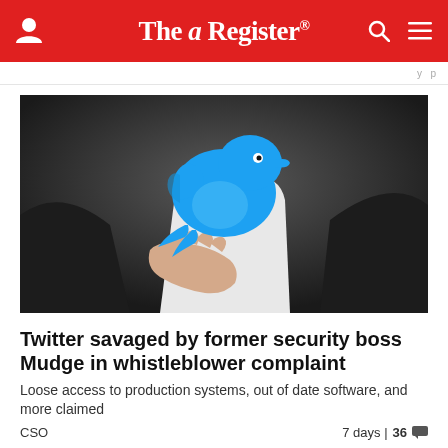The Register
y p
[Figure (photo): A person in a dark suit jacket holding a blue Twitter bird logo cutout against a white shirt background.]
Twitter savaged by former security boss Mudge in whistleblower complaint
Loose access to production systems, out of date software, and more claimed
CSO	7 days | 36